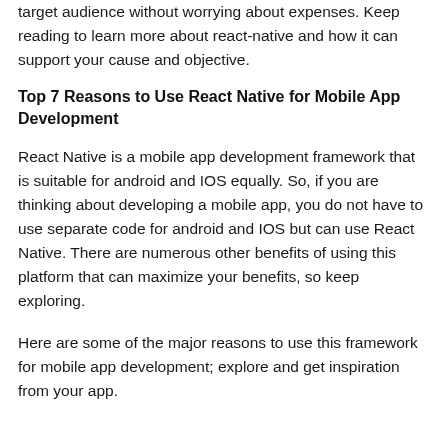target audience without worrying about expenses. Keep reading to learn more about react-native and how it can support your cause and objective.
Top 7 Reasons to Use React Native for Mobile App Development
React Native is a mobile app development framework that is suitable for android and IOS equally. So, if you are thinking about developing a mobile app, you do not have to use separate code for android and IOS but can use React Native. There are numerous other benefits of using this platform that can maximize your benefits, so keep exploring.
Here are some of the major reasons to use this framework for mobile app development; explore and get inspiration from your app.